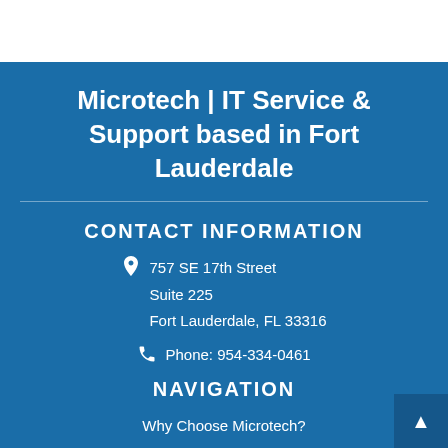Microtech | IT Service & Support based in Fort Lauderdale
CONTACT INFORMATION
757 SE 17th Street
Suite 225
Fort Lauderdale, FL 33316
Phone: 954-334-0461
NAVIGATION
Why Choose Microtech?